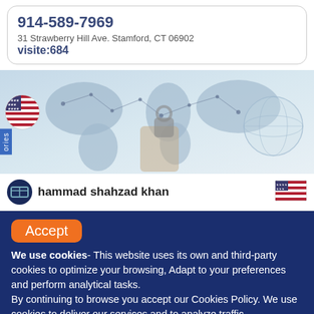914-589-7969
31 Strawberry Hill Ave. Stamford, CT 06902
visite:684
[Figure (photo): World map with network connection lines and a hand holding a padlock, representing global digital security. A US flag circle and 'categories' tab are overlaid on the left side.]
hammad shahzad khan
Accept
We use cookies- This website uses its own and third-party cookies to optimize your browsing, Adapt to your preferences and perform analytical tasks.
By continuing to browse you accept our Cookies Policy. We use cookies to deliver our services and to analyze traffic.
United States